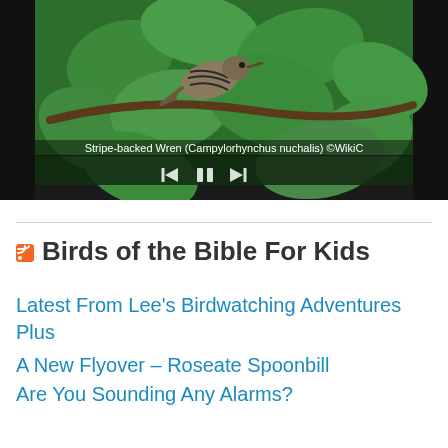[Figure (photo): A bird (Stripe-backed Wren, Campylorhynchus nuchalis) perched among green leaves on a branch, shown in a dark-framed media player interface with playback controls. Caption overlay reads: Stripe-backed Wren (Campylorhynchus nuchalis) ©WikiC]
Birds of the Bible For Kids
Latest From Lee's Birdwatching Adventures Plus
A New Flyover – Roseate Spoonbill
Are You Sounding Any Alarms?